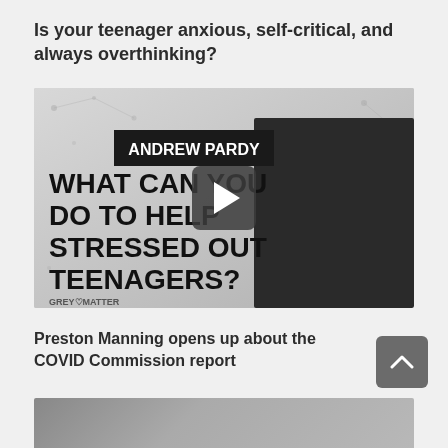Is your teenager anxious, self-critical, and always overthinking?
[Figure (screenshot): Video thumbnail for 'What Can You Do To Help Stressed Out Teenagers?' featuring Andrew Pardy on the Grey Matter podcast hosted by Leighton Grey. Shows a bald man in a black hoodie with a play button overlay.]
Preston Manning opens up about the COVID Commission report